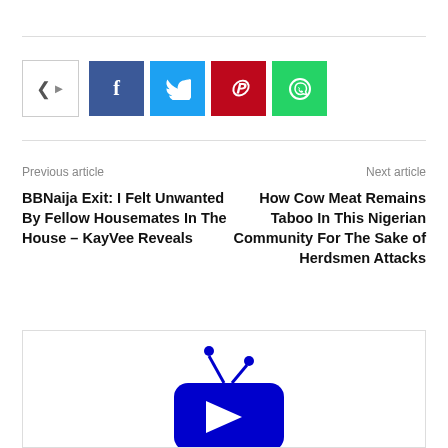[Figure (other): Social share bar with share icon, Facebook, Twitter, Pinterest, and WhatsApp buttons]
Previous article
BBNaija Exit: I Felt Unwanted By Fellow Housemates In The House – KayVee Reveals
Next article
How Cow Meat Remains Taboo In This Nigerian Community For The Sake of Herdsmen Attacks
[Figure (logo): Blue TV/media logo with play button and antenna]